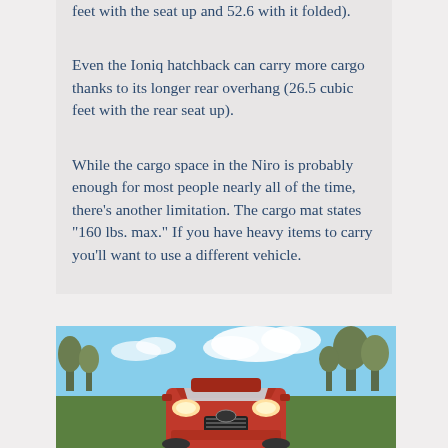feet with the seat up and 52.6 with it folded).
Even the Ioniq hatchback can carry more cargo thanks to its longer rear overhang (26.5 cubic feet with the rear seat up).
While the cargo space in the Niro is probably enough for most people nearly all of the time, there's another limitation. The cargo mat states "160 lbs. max." If you have heavy items to carry you'll want to use a different vehicle.
[Figure (photo): Front view of a red Kia Niro SUV on a road, with trees and blue sky in the background]